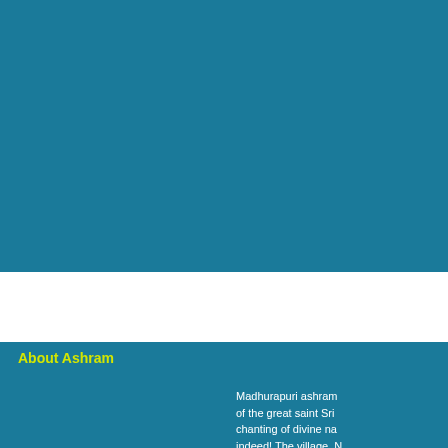[Figure (photo): Large teal/dark cyan background area occupying the top portion of the page]
About Ashram
Madhurapuri ashram of the great saint Sri chanting of divine na indeed! The village, N Rama on his way to L chapter) of Ramayana lake. It is amazing ho only a stone's throw a calms the vacillating